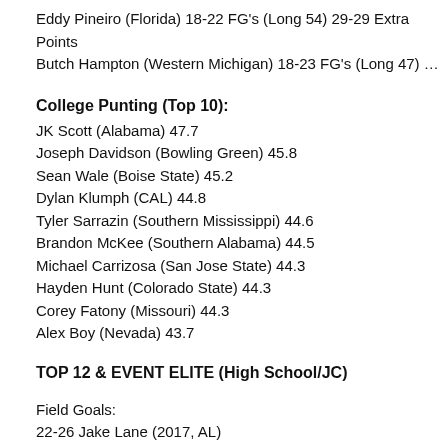Eddy Pineiro (Florida) 18-22 FG's (Long 54) 29-29 Extra Points
Butch Hampton (Western Michigan) 18-23 FG's (Long 47) 70-71 E…
College Punting (Top 10):
JK Scott (Alabama) 47.7
Joseph Davidson (Bowling Green) 45.8
Sean Wale (Boise State) 45.2
Dylan Klumph (CAL) 44.8
Tyler Sarrazin (Southern Mississippi) 44.6
Brandon McKee (Southern Alabama) 44.5
Michael Carrizosa (San Jose State) 44.3
Hayden Hunt (Colorado State) 44.3
Corey Fatony (Missouri) 44.3
Alex Boy (Nevada) 43.7
TOP 12 & EVENT ELITE (High School/JC)
Field Goals:
22-26 Jake Lane (2017, AL)
17-20 Brandon Ruiz (2017, AZ)
11-13 Cole Talley (2018, TX)